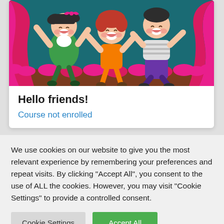[Figure (illustration): Cartoon illustration of three happy children dancing/jumping on a stage with pink curtains and a dark teal background. Left child is a girl in a green dress with pigtails, center child has red hair and an orange shirt, right child is a boy in a striped shirt and purple pants.]
Hello friends!
Course not enrolled
We use cookies on our website to give you the most relevant experience by remembering your preferences and repeat visits. By clicking "Accept All", you consent to the use of ALL the cookies. However, you may visit "Cookie Settings" to provide a controlled consent.
Cookie Settings
Accept All